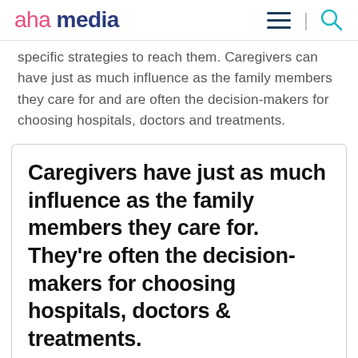aha media
specific strategies to reach them. Caregivers can have just as much influence as the family members they care for and are often the decision-makers for choosing hospitals, doctors and treatments.
Caregivers have just as much influence as the family members they care for. They're often the decision-makers for choosing hospitals, doctors & treatments.